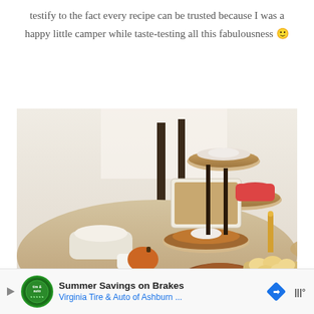testify to the fact every recipe can be trusted because I was a happy little camper while taste-testing all this fabulousness 🙂
[Figure (photo): A Thanksgiving feast spread on a table with turkey, pumpkin pie with whipped cream, mashed potatoes, stuffing, rolls, cranberries, and other dishes on a multi-tiered stand and plates, decorated with autumn foliage.]
Summer Savings on Brakes — Virginia Tire & Auto of Ashburn ...